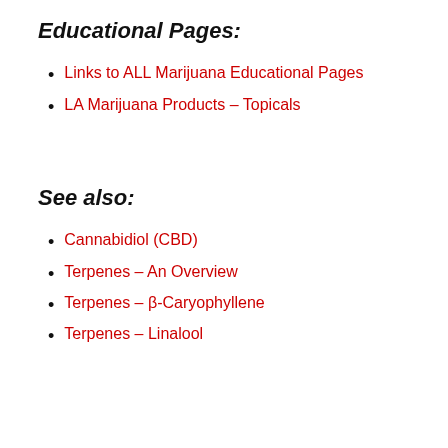Educational Pages:
Links to ALL Marijuana Educational Pages
LA Marijuana Products – Topicals
See also:
Cannabidiol (CBD)
Terpenes – An Overview
Terpenes – β-Caryophyllene
Terpenes – Linalool